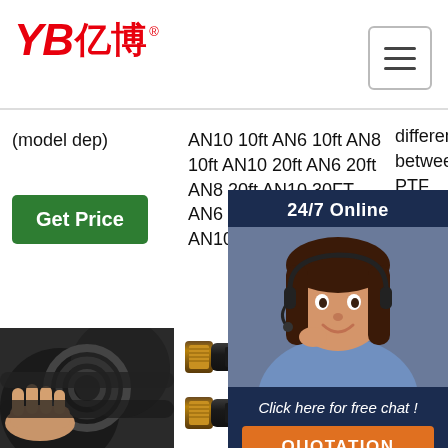[Figure (logo): YB Yibo brand logo in red with Chinese characters]
(model dep)
AN10 10ft AN6 10ft AN8 10ft AN10 20ft AN6 20ft AN8 20ft AN10 30FT AN6 30FT AN8 30FT AN10 40FT AN6 ...
difference between PTF... rub... that the you
[Figure (infographic): 24/7 Online chat overlay with customer service representative photo, 'Click here for free chat!' text and orange QUOTATION button on dark blue background]
Get Price
Get Price
G
[Figure (photo): Hands holding black hydraulic hoses, AN fittings visible]
[Figure (photo): Two YIBO SAE 100 R17 hydraulic hoses shown stacked]
[Figure (photo): YIBO Steam Hose product with TOP text and orange logo]